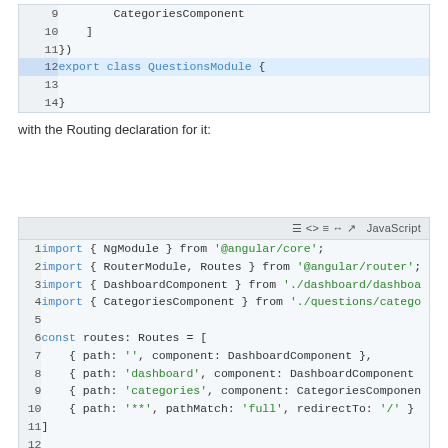[Figure (screenshot): Code block showing lines 9-14 of a JavaScript/TypeScript module file with CategoriesComponent and export class QuestionsModule]
with the Routing declaration for it:
[Figure (screenshot): Code block showing lines 1-12 of a JavaScript routing file with NgModule imports, RouterModule, Routes, DashboardComponent, CategoriesComponent, and const routes array]